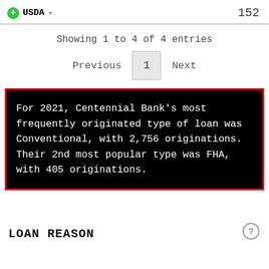USDA  152
Showing 1 to 4 of 4 entries
Previous  1  Next
For 2021, Centennial Bank's most frequently originated type of loan was Conventional, with 2,756 originations. Their 2nd most popular type was FHA, with 405 originations.
LOAN REASON